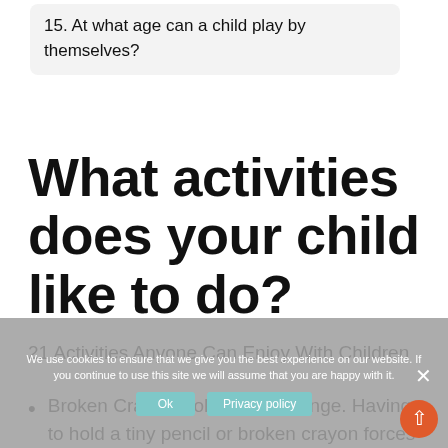15. At what age can a child play by themselves?
What activities does your child like to do?
21 Activities Anyone Can Enjoy With Children
Broken Crayon Coloring Challenge. Having to hold a tiny pencil or broken crayon forces children to learn the right way to hold a pencil, between the thumb and forefinger.
We use cookies to ensure that we give you the best experience on our website. If you continue to use this site we will assume that you are happy with it.